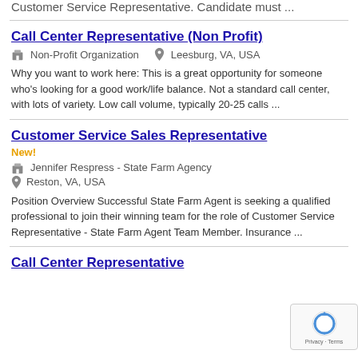Customer Service Representative. Candidate must ...
Call Center Representative (Non Profit)
Non-Profit Organization   Leesburg, VA, USA
Why you want to work here: This is a great opportunity for someone who's looking for a good work/life balance. Not a standard call center, with lots of variety. Low call volume, typically 20-25 calls ...
Customer Service Sales Representative
New!
Jennifer Respress - State Farm Agency
Reston, VA, USA
Position Overview Successful State Farm Agent is seeking a qualified professional to join their winning team for the role of Customer Service Representative - State Farm Agent Team Member. Insurance ...
Call Center Representative